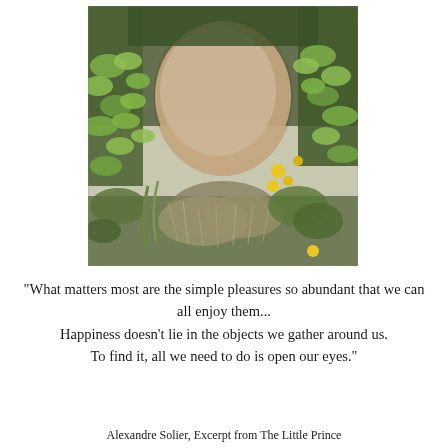[Figure (photo): A garden scene with a large rounded stone or boulder covered and surrounded by climbing ivy and other green plants. Yellow flowers are visible among the vegetation. Ornamental grass grows in the foreground.]
"What matters most are the simple pleasures so abundant that we can all enjoy them... Happiness doesn't lie in the objects we gather around us. To find it, all we need to do is open our eyes."
Alexandre Solier, Excerpt from The Little Prince